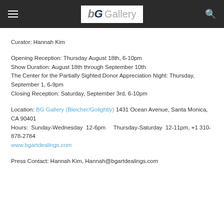bG Gallery
Curator: Hannah Kim
Opening Reception: Thursday August 18th, 6-10pm
Show Duration: August 18th through September 10th
The Center for the Partially Sighted Donor Appreciation Night: Thursday, September 1, 6-9pm
Closing Reception: Saturday, September 3rd, 6-10pm
Location: BG Gallery (Bleicher/Golightly) 1431 Ocean Avenue, Santa Monica, CA 90401
Hours: Sunday-Wednesday 12-6pm Thursday-Saturday 12-11pm, +1 310-878-2784
www.bgartdealings.com
Press Contact: Hannah Kim, Hannah@bgartdealings.com